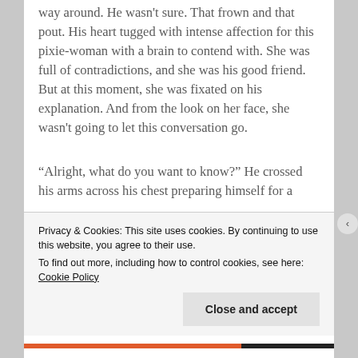way around. He wasn't sure. That frown and that pout. His heart tugged with intense affection for this pixie-woman with a brain to contend with. She was full of contradictions, and she was his good friend. But at this moment, she was fixated on his explanation. And from the look on her face, she wasn't going to let this conversation go.
“Alright, what do you want to know?” He crossed his arms across his chest preparing himself for a
Privacy & Cookies: This site uses cookies. By continuing to use this website, you agree to their use.
To find out more, including how to control cookies, see here: Cookie Policy
Close and accept